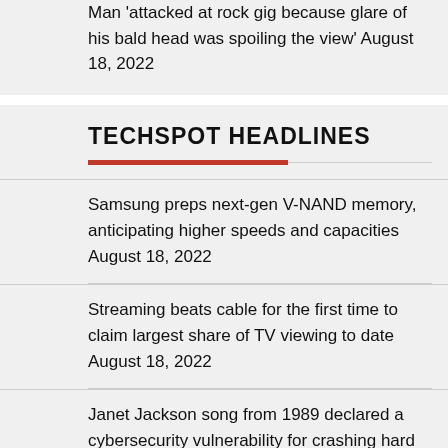Man 'attacked at rock gig because glare of his bald head was spoiling the view' August 18, 2022
TECHSPOT HEADLINES
Samsung preps next-gen V-NAND memory, anticipating higher speeds and capacities August 18, 2022
Streaming beats cable for the first time to claim largest share of TV viewing to date August 18, 2022
Janet Jackson song from 1989 declared a cybersecurity vulnerability for crashing hard drives August 18, 2022